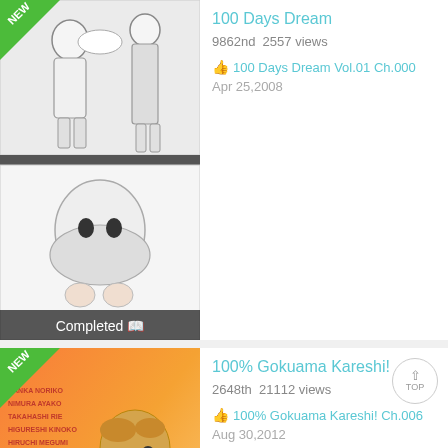[Figure (illustration): Manga cover for '100 Days Dream' showing black and white manga panels with anime characters. A 'NEW' badge in green at top-left corner. 'Completed' label with book icon at the bottom.]
100 Days Dream
9862nd  2557 views
100 Days Dream Vol.01 Ch.000
Apr 25,2008
[Figure (illustration): Manga cover for '100% Gokuama Kareshi!' showing colorful anime characters with warm orange tones. A 'NEW' badge in green at top-left corner. Title '100% GOKUAMA' visible at bottom.]
100% Gokuama Kareshi!
2648th  21112 views
100% Gokuama Kareshi! Ch.006
Aug 30,2012